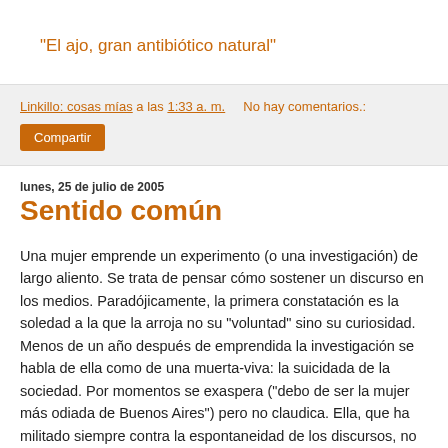"El ajo, gran antibiótico natural"
Linkillo: cosas mías a las 1:33 a. m.    No hay comentarios.:
Compartir
lunes, 25 de julio de 2005
Sentido común
Una mujer emprende un experimento (o una investigación) de largo aliento. Se trata de pensar cómo sostener un discurso en los medios. Paradójicamente, la primera constatación es la soledad a la que la arroja no su "voluntad" sino su curiosidad. Menos de un año después de emprendida la investigación se habla de ella como de una muerta-viva: la suicidada de la sociedad. Por momentos se exaspera ("debo de ser la mujer más odiada de Buenos Aires") pero no claudica. Ella, que ha militado siempre contra la espontaneidad de los discursos, no se irrita tanto por las invectivas que le lanzan